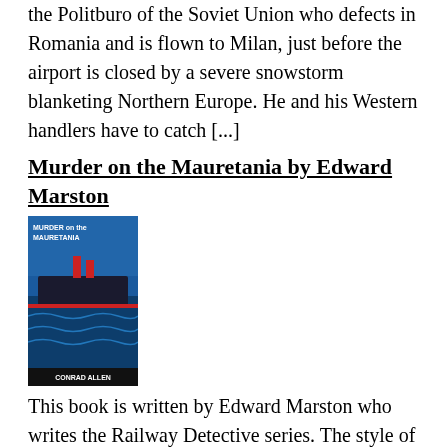the Politburo of the Soviet Union who defects in Romania and is flown to Milan, just before the airport is closed by a severe snowstorm blanketing Northern Europe. He and his Western handlers have to catch [...]
Murder on the Mauretania by Edward Marston
[Figure (photo): Book cover of 'Murder on the Mauretania' by Conrad Allen, showing a blue ocean liner image]
This book is written by Edward Marston who writes the Railway Detective series. The style of writing is very similar, plenty of dialogue driving the plot strongly forwards like the engines of the Mauretania as it powers across the Atlantic Ocean in the November weather. I enjoyed the book immensely and will read another in [...]
Because of the Cats by Nicolas Freeling